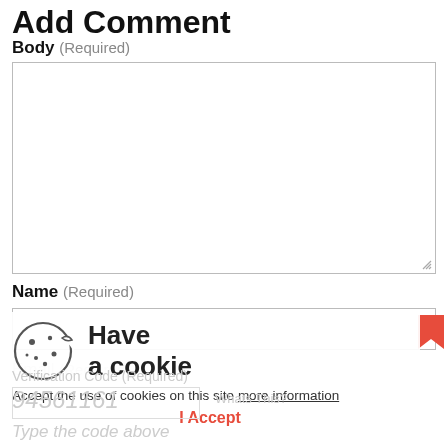Add Comment
Body (Required)
Name (Required)
Email (Required)
[Figure (illustration): Cookie consent overlay with cookie icon, 'Have a cookie' heading, 'Accept the use of cookies on this site more information' text, and 'I Accept' button]
Verification Code (Required)
94561161
Whats This?
Type the code above